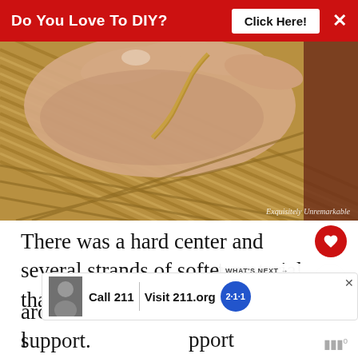Do You Love To DIY? Click Here!
[Figure (photo): A hand holding a strand of natural fiber/rattan material, pulling it away from a woven surface showing the braided inner core structure. Watermark: Exquisitely Unremarkable]
There was a hard center and several strands of softer material that wrapped around that inner support.
l ... pport